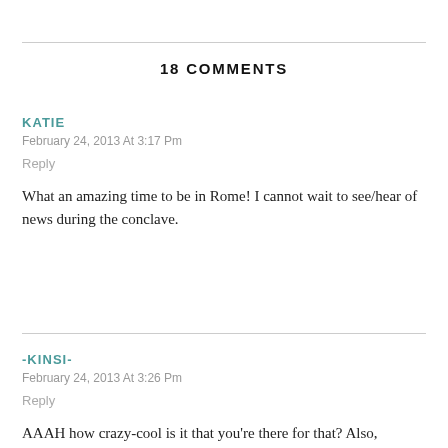18 COMMENTS
KATIE
February 24, 2013 At 3:17 Pm
Reply
What an amazing time to be in Rome! I cannot wait to see/hear of news during the conclave.
-KINSI-
February 24, 2013 At 3:26 Pm
Reply
AAAH how crazy-cool is it that you're there for that? Also,